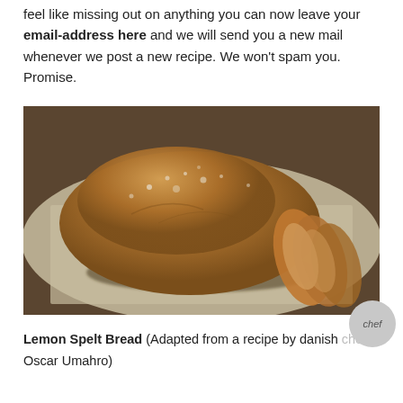feel like missing out on anything you can now leave your email-address here and we will send you a new mail whenever we post a new recipe. We won't spam you. Promise.
[Figure (photo): A rustic loaf of lemon spelt bread dusted with flour, partially sliced, resting on parchment paper on a wooden surface.]
Lemon Spelt Bread (Adapted from a recipe by danish chef Oscar Umahro)